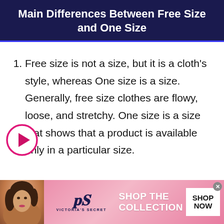Main Differences Between Free Size and One Size
Free size is not a size, but it is a cloth's style, whereas One size is a size. Generally, free size clothes are flowy, loose, and stretchy. One size is a size that shows that a product is available only in a particular size.
Free size can fit everyone because
[Figure (other): Pink circular play button icon with magenta/pink border and dark pink triangle pointing right in center]
[Figure (other): Victoria's Secret advertisement banner with model, VS logo, SHOP THE COLLECTION text and SHOP NOW button]